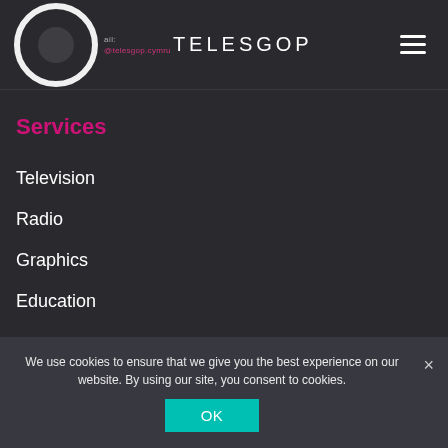TELESGOP
Services
Television
Radio
Graphics
Education
We use cookies to ensure that we give you the best experience on our website. By using our site, you consent to cookies.
OK